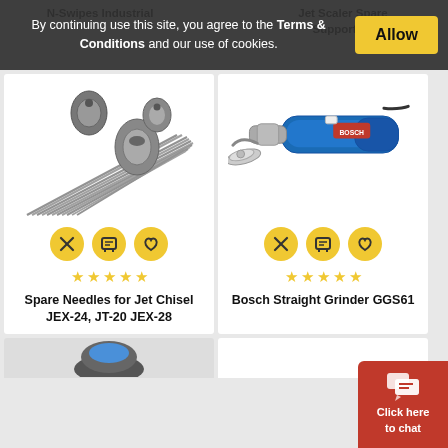N-Swipes Industrial    Jet Scaler Spare Supporters
By continuing use this site, you agree to the Terms & Conditions and our use of cookies.
[Figure (photo): Spare Needles for Jet Chisel JEX-24, JT-20, JEX-28 - photo of needle tips and rods]
★ ★ ★ ★ ★
Spare Needles for Jet Chisel JEX-24, JT-20 JEX-28
[Figure (photo): Bosch Straight Grinder GGS61 - blue electric grinder tool]
★ ★ ★ ★ ★
Bosch Straight Grinder GGS61
[Figure (photo): Partially visible product image at bottom of page]